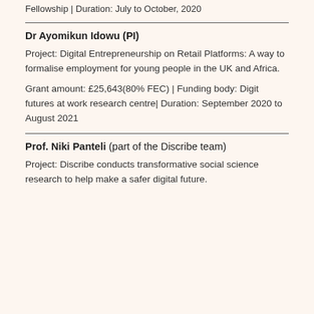Fellowship | Duration: July to October, 2020
Dr Ayomikun Idowu (PI)
Project: Digital Entrepreneurship on Retail Platforms: A way to formalise employment for young people in the UK and Africa.
Grant amount: £25,643(80% FEC) | Funding body: Digit futures at work research centre| Duration: September 2020 to August 2021
Prof. Niki Panteli (part of the Discribe team)
Project: Discribe conducts transformative social science research to help make a safer digital future.